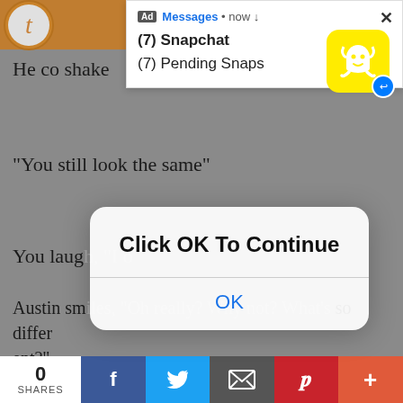[Figure (screenshot): Snapchat push notification ad overlay on a mobile browser page showing '(7) Snapchat' and '(7) Pending Snaps' with yellow Snapchat logo icon. A dialog box overlays the content reading 'Click OK To Continue' with an OK button. Background page shows story text. Bottom has social sharing bar with 0 shares.]
He co... shake...
"You still look the same"
You laugh, "I...
Austin smiles, "Oh really? Why not? What's so different?"
You shrug and your eyes meet.
"Your hair is shorter...you're taller...you're all man...you look mature" you explain to him.